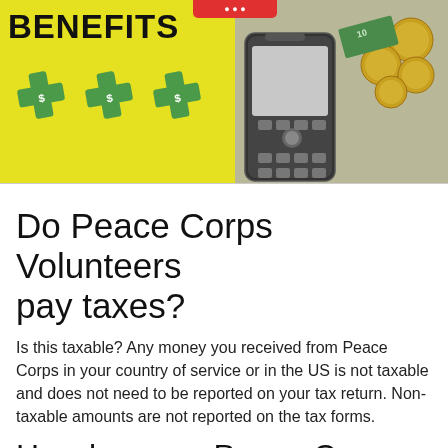[Figure (photo): Split image: left side shows yellow background with 'BENEFITS' text in bold and three green dollar sign money icons; right side shows a Nokia mobile phone and coins/banknotes on a surface. Red tag visible at top center.]
Do Peace Corps Volunteers pay taxes?
Is this taxable? Any money you received from Peace Corps in your country of service or in the US is not taxable and does not need to be reported on your tax return. Non-taxable amounts are not reported on the tax forms.
How long are Peace Corps assignments?